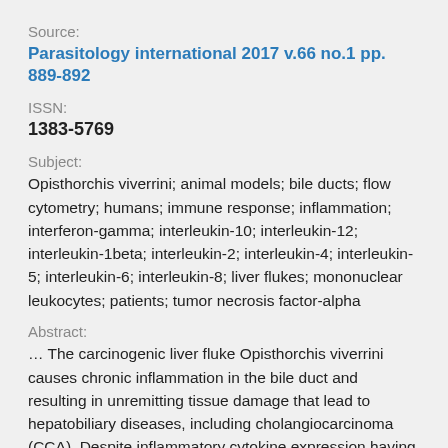Source:
Parasitology international 2017 v.66 no.1 pp. 889-892
ISSN:
1383-5769
Subject:
Opisthorchis viverrini; animal models; bile ducts; flow cytometry; humans; immune response; inflammation; interferon-gamma; interleukin-10; interleukin-12; interleukin-1beta; interleukin-2; interleukin-4; interleukin-5; interleukin-6; interleukin-8; liver flukes; mononuclear leukocytes; patients; tumor necrosis factor-alpha
Abstract:
… The carcinogenic liver fluke Opisthorchis viverrini causes chronic inflammation in the bile duct and resulting in unremitting tissue damage that lead to hepatobiliary diseases, including cholangiocarcinoma (CCA). Despite inflammatory cytokine expression having been studied in the animal model, so far no studies have been carried out on cytokines in human CCA cases. Here we report the profile of